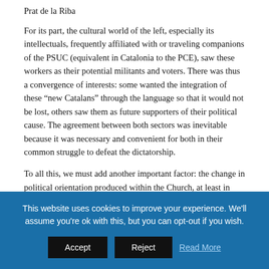Prat de la Riba
For its part, the cultural world of the left, especially its intellectuals, frequently affiliated with or traveling companions of the PSUC (equivalent in Catalonia to the PCE), saw these workers as their potential militants and voters. There was thus a convergence of interests: some wanted the integration of these “new Catalans” through the language so that it would not be lost, others saw them as future supporters of their political cause. The agreement between both sectors was inevitable because it was necessary and convenient for both in their common struggle to defeat the dictatorship.
To all this, we must add another important factor: the change in political orientation produced within the Church, at least in some of its sectors, starting with the papacy of John XXIII and his two
This website uses cookies to improve your experience. We'll assume you're ok with this, but you can opt-out if you wish.
Accept | Reject | Read More